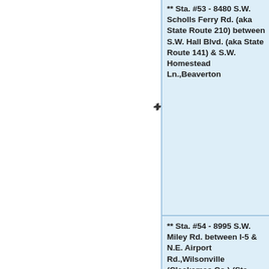** Sta. #53 - 8480 S.W. Scholls Ferry Rd. (aka State Route 210) between S.W. Hall Blvd. (aka State Route 141) & S.W. Homestead Ln.,Beaverton
** Sta. #54 - 8995 S.W. Miley Rd. between I-5 & N.E. Airport Rd.,Wilsonville (Clackamas Co.) (Sta. #54 sits in a Medical Plaza @ the following coordinates: 45.284798/-122.767407)
** Sta. #55 - 20790 Hidden Springs Rd. across from Bay Meadows Dr.,West Linn (Clackamas Co.)
** Sta. #56 - 8445 S.W. Pillmore Rd. across from...